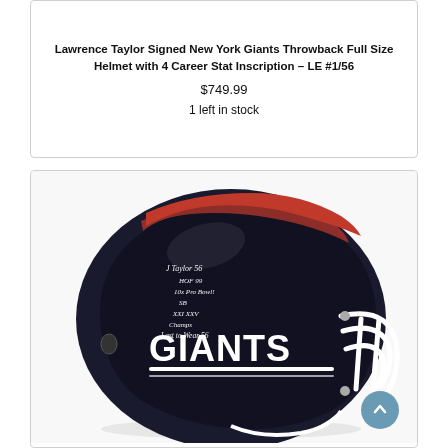Lawrence Taylor Signed New York Giants Throwback Full Size Helmet with 4 Career Stat Inscription – LE #1/56
$749.99
1 left in stock
[Figure (photo): Lawrence Taylor signed New York Giants throwback full size football helmet in black with red stripe, white GIANTS lettering, white face mask, with handwritten inscriptions including signature, HOF 99, 10x Pro Bowl, SB XXI XXV Champs, Last to Wear 56]